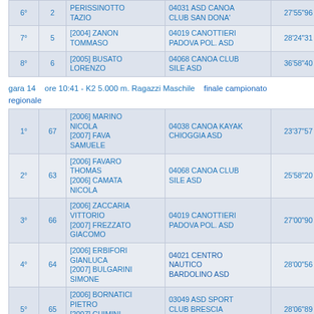| Pos | Num | Name | Club | Time | Diff |
| --- | --- | --- | --- | --- | --- |
| 6° | 2 | PERISSINOTTO TAZIO | 04031 ASD CANOA CLUB SAN DONA' | 27'55"96 | +4'14"71 |
| 7° | 5 | [2004] ZANON TOMMASO | 04019 CANOTTIERI PADOVA POL. ASD | 28'24"31 | +4'43"06 |
| 8° | 6 | [2005] BUSATO LORENZO | 04068 CANOA CLUB SILE ASD | 36'58"40 | +13'17"15 |
gara 14   ore 10:41 - K2 5.000 m. Ragazzi Maschile    finale campionato regionale
| Pos | Num | Name | Club | Time | Diff |
| --- | --- | --- | --- | --- | --- |
| 1° | 67 | [2006] MARINO NICOLA
[2007] FAVA SAMUELE | 04038 CANOA KAYAK CHIOGGIA ASD | 23'37"57 |  |
| 2° | 63 | [2006] FAVARO THOMAS
[2006] CAMATA NICOLA | 04068 CANOA CLUB SILE ASD | 25'58"20 | +2'20"63 |
| 3° | 66 | [2006] ZACCARIA VITTORIO
[2007] FREZZATO GIACOMO | 04019 CANOTTIERI PADOVA POL. ASD | 27'00"90 | +3'23"33 |
| 4° | 64 | [2006] ERBIFORI GIANLUCA
[2007] BULGARINI SIMONE | 04021 CENTRO NAUTICO BARDOLINO ASD | 28'00"56 | +4'22"99 |
| 5° | 65 | [2006] BORNATICI PIETRO
[2007] CHIMINI FEDERICO | 03049 ASD SPORT CLUB BRESCIA LIBERAVVENTURA | 28'06"89 | +4'29"32 |